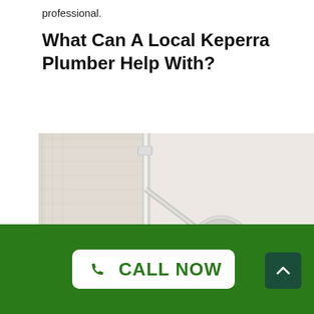professional.
What Can A Local Keperra Plumber Help With?
[Figure (photo): Close-up photograph of a bathroom shower head and rail with a curtain on the left side, against a light-colored wall background.]
CALL NOW